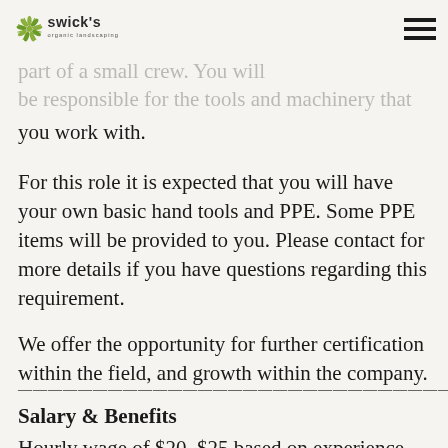Swick's Organic Landscaping logo and navigation menu
You will work under the lead of the Maintenance be required to work part of a small crew. You will be responsible for the tools and machinery that you work with.
For this role it is expected that you will have your own basic hand tools and PPE. Some PPE items will be provided to you. Please contact for more details if you have questions regarding this requirement.
We offer the opportunity for further certification within the field, and growth within the company.
Salary & Benefits
Hourly wage of $20–$25 based on experience, with a performance review after 3 months. Extensive healthcare and dental benefits provided after 3 months.
Being part of a great crew; supportive working